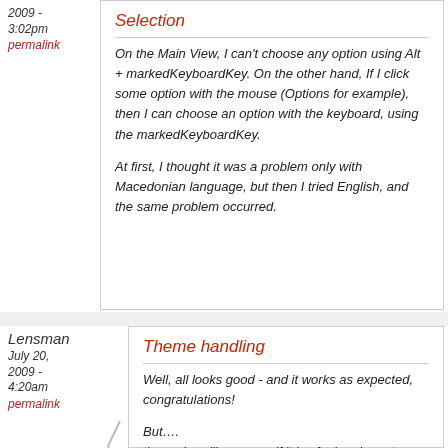2009 - 3:02pm
permalink
Selection
On the Main View, I can't choose any option using Alt + markedKeyboardKey. On the other hand, If I click some option with the mouse (Options for example), then I can choose an option with the keyboard, using the markedKeyboardKey.
At first, I thought it was a problem only with Macedonian language, but then I tried English, and the same problem occurred.
Lensman
July 20, 2009 - 4:20am
permalink
Theme handling
Well, all looks good - and it works as expected, congratulations!
But….
theme handling - even if it is of minor importance - doesn't work well: